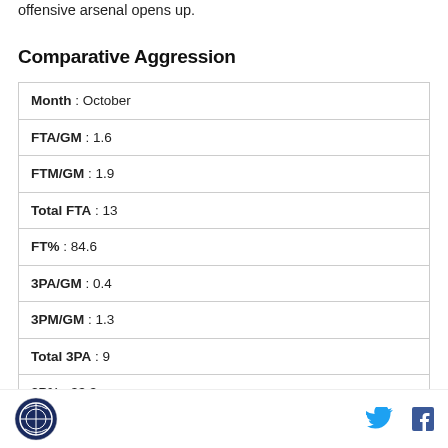offensive arsenal opens up.
Comparative Aggression
| Month : October |
| FTA/GM : 1.6 |
| FTM/GM : 1.9 |
| Total FTA : 13 |
| FT% : 84.6 |
| 3PA/GM : 0.4 |
| 3PM/GM : 1.3 |
| Total 3PA : 9 |
| 3P% : 33.3 |
logo, twitter, facebook